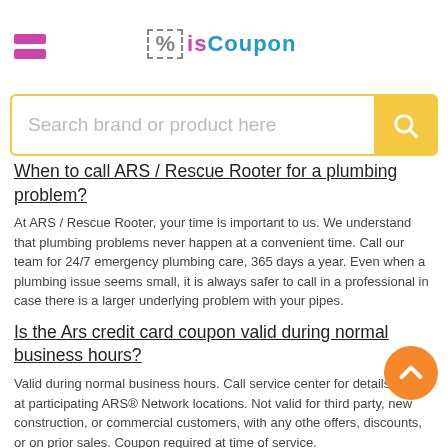isCoupon - Search brand or product here
When to call ARS / Rescue Rooter for a plumbing problem?
At ARS / Rescue Rooter, your time is important to us. We understand that plumbing problems never happen at a convenient time. Call our team for 24/7 emergency plumbing care, 365 days a year. Even when a plumbing issue seems small, it is always safer to call in a professional in case there is a larger underlying problem with your pipes.
Is the Ars credit card coupon valid during normal business hours?
Valid during normal business hours. Call service center for details. Valid at participating ARS® Network locations. Not valid for third party, new construction, or commercial customers, with any other offers, discounts, or on prior sales. Coupon required at time of service.
What can ARS / Rescue Rooter Austin do for You?
ARS/Rescue Rooter Austin is a...